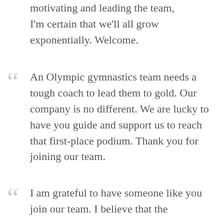motivating and leading the team, I'm certain that we'll all grow exponentially. Welcome.
An Olympic gymnastics team needs a tough coach to lead them to gold. Our company is no different. We are lucky to have you guide and support us to reach that first-place podium. Thank you for joining our team.
I am grateful to have someone like you join our team. I believe that the